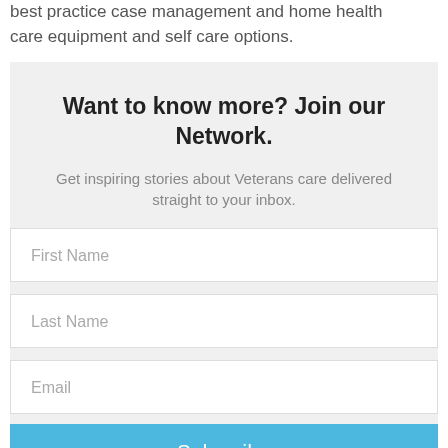best practice case management and home health care equipment and self care options.
Want to know more? Join our Network.
Get inspiring stories about Veterans care delivered straight to your inbox.
First Name
Last Name
Email
Subscribe